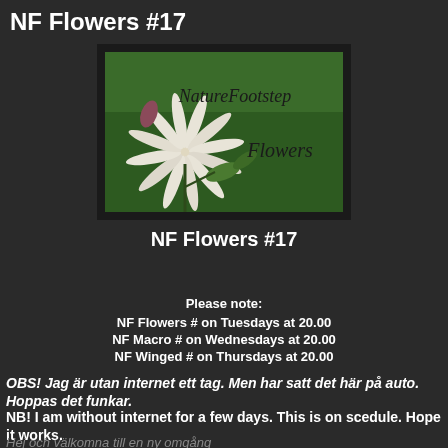NF Flowers #17
[Figure (logo): NatureFootstep Flowers logo: white star-shaped flower on green background with text 'NatureFootstep Flowers']
NF Flowers #17
Please note:
NF Flowers # on Tuesdays at 20.00
NF Macro # on Wednesdays at 20.00
NF Winged # on Thursdays at 20.00
OBS! Jag är utan internet ett tag. Men har satt det här på auto. Hoppas det funkar.
NB! I am without internet for a few days. This is on scedule. Hope it works.
Hej och välkomna till en ny omgång